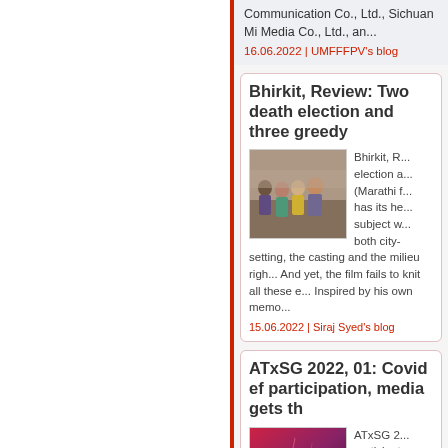Communication Co., Ltd., Sichuan Mi- Media Co., Ltd., an...
16.06.2022 | UMFFFPV's blog
Bhirkit, Review: Two death election and three greedy
[Figure (photo): Group of people, appears to be a still from the Marathi film Bhirkit]
Bhirkit, R... election a... (Marathi f... has its he... subject w... both city- setting, the casting and the milieu righ... And yet, the film fails to knit all these e... Inspired by his own memo...
15.06.2022 | Siraj Syed's blog
ATxSG 2022, 01: Covid ef participation, media gets th
[Figure (photo): ATx Singapore event promotional image with dark red/purple gradient background and silhouette]
ATxSG 2... participat... began, fo... the top-o... Centre n...